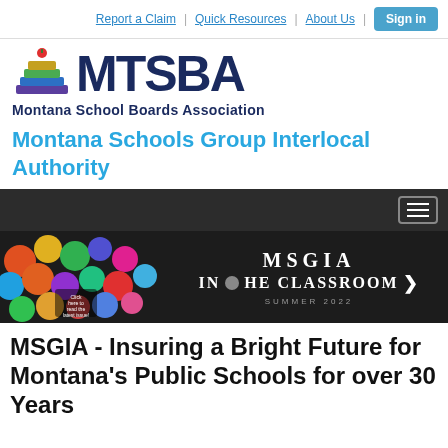Report a Claim | Quick Resources | About Us | Sign in
[Figure (logo): MTSBA Montana School Boards Association logo with stacked books and apple icon]
Montana Schools Group Interlocal Authority
[Figure (screenshot): Dark navigation bar with hamburger menu icon]
[Figure (illustration): MSGIA In the Classroom Summer 2022 banner with colorful circle icons on left and text on dark background]
MSGIA - Insuring a Bright Future for Montana's Public Schools for over 30 Years